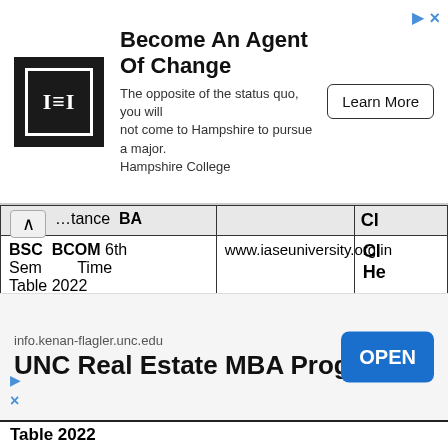[Figure (other): Advertisement banner: Hampshire College logo with text 'Become An Agent Of Change' and 'Learn More' button]
| University / Course | Website | Cl He |
| --- | --- | --- |
| …tance BA BSC BCOM 6th Sem Time Table 2022 | www.iaseuniversity.org.in | Cl He |
| Jamia Millia Islamia BA BSC BCOM 6th Sem Time Table 2022 | jmi.ac.in | Cl He |
| JP |  |  |
[Figure (other): Advertisement banner: UNC Real Estate MBA Program with OPEN button, info.kenan-flagler.unc.edu]
Table 2022